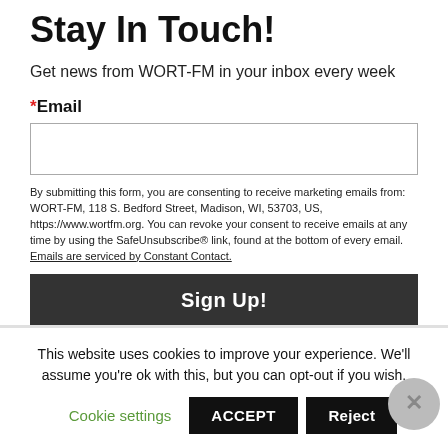Stay In Touch!
Get news from WORT-FM in your inbox every week
*Email
By submitting this form, you are consenting to receive marketing emails from: WORT-FM, 118 S. Bedford Street, Madison, WI, 53703, US, https://www.wortfm.org. You can revoke your consent to receive emails at any time by using the SafeUnsubscribe® link, found at the bottom of every email. Emails are serviced by Constant Contact.
Sign Up!
This website uses cookies to improve your experience. We'll assume you're ok with this, but you can opt-out if you wish.
Cookie settings  ACCEPT  Reject